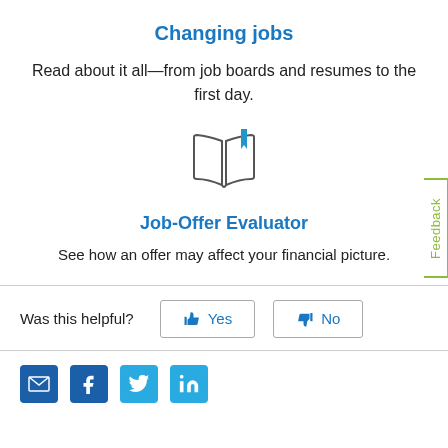Changing jobs
Read about it all—from job boards and resumes to the first day.
[Figure (illustration): Open book icon with a blue bookmark ribbon on the right page]
Job-Offer Evaluator
See how an offer may affect your financial picture.
Was this helpful?  Yes  No
[Figure (infographic): Social media share icons: email (envelope), Facebook, Twitter, LinkedIn]